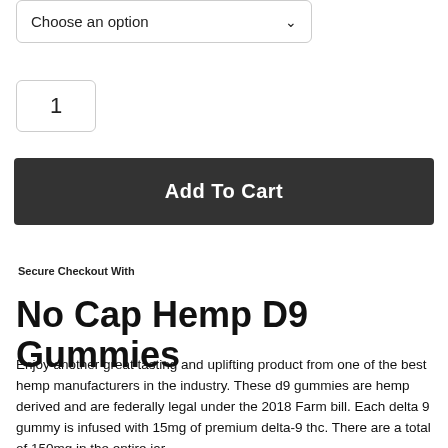Choose an option
1
Add To Cart
Secure Checkout With
No Cap Hemp D9 Gummies
Enjoy another great tasting and uplifting product from one of the best hemp manufacturers in the industry. These d9 gummies are hemp derived and are federally legal under the 2018 Farm bill. Each delta 9 gummy is infused with 15mg of premium delta-9 thc. There are a total of 150mg in the entire jar.
Each jar contains 10 gummies. These delta 9 gummies